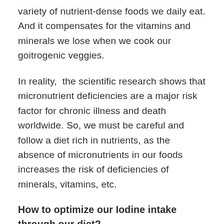variety of nutrient-dense foods we daily eat. And it compensates for the vitamins and minerals we lose when we cook our goitrogenic veggies.
In reality, the scientific research shows that micronutrient deficiencies are a major risk factor for chronic illness and death worldwide. So, we must be careful and follow a diet rich in nutrients, as the absence of micronutrients in our foods increases the risk of deficiencies of minerals, vitamins, etc.
How to optimize our Iodine intake through our diet?
Always remember that both extremities, deficiencies and excesses of nutrients,